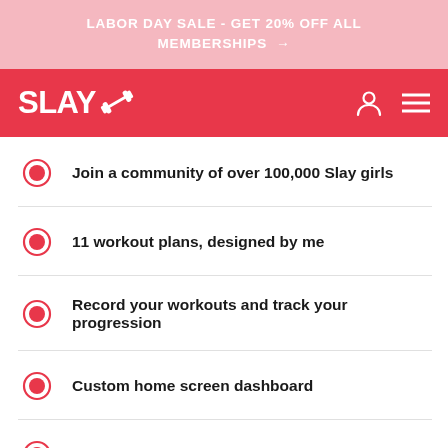LABOR DAY SALE - GET 20% OFF ALL MEMBERSHIPS →
[Figure (logo): SLAY fitness app logo with dumbbell icon in white on red navbar background]
Join a community of over 100,000 Slay girls
11 workout plans, designed by me
Record your workouts and track your progression
Custom home screen dashboard
Try one of our delicious SLAY recipes